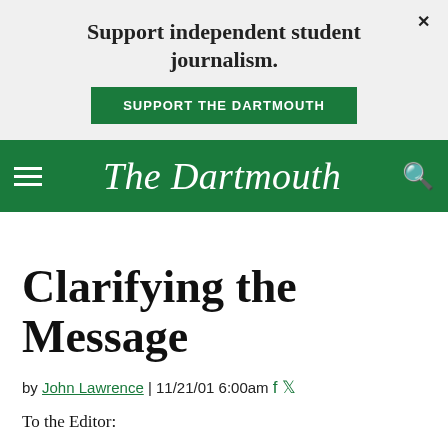Support independent student journalism.
SUPPORT THE DARTMOUTH
The Dartmouth
Clarifying the Message
by John Lawrence | 11/21/01 6:00am
To the Editor: